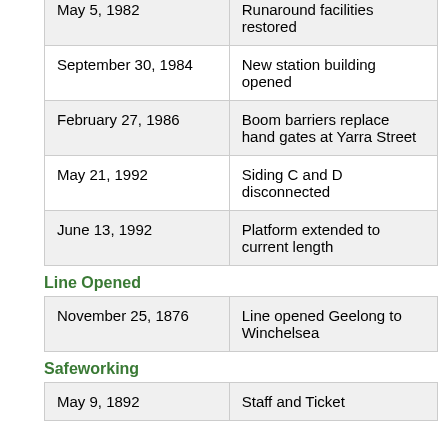| Date | Event |
| --- | --- |
| May 5, 1982 | Runaround facilities restored |
| September 30, 1984 | New station building opened |
| February 27, 1986 | Boom barriers replace hand gates at Yarra Street |
| May 21, 1992 | Siding C and D disconnected |
| June 13, 1992 | Platform extended to current length |
Line Opened
| Date | Event |
| --- | --- |
| November 25, 1876 | Line opened Geelong to Winchelsea |
Safeworking
| Date | Event |
| --- | --- |
| May 9, 1892 | Staff and Ticket |